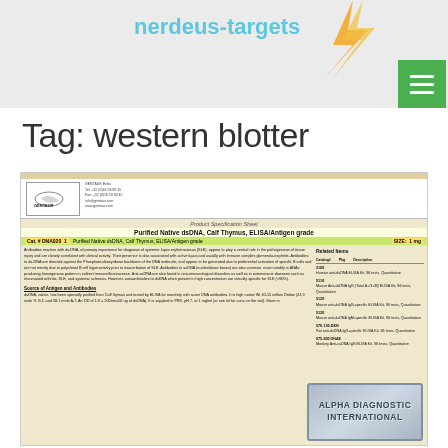nerdeus-targets
Tag: western blotter
[Figure (photo): Photo of a Gentaur product specification sheet for Purified Native dsDNA, Calf Thymus, ELISA/Antigen grade. The sheet shows catalog number DNA020, size 1 mg, with product description text on the left and related items listing on the right. An Alpha Diagnostic International embossed stamp/seal appears in the lower right of the photo.]